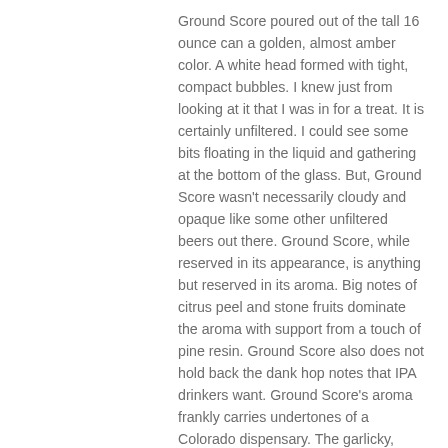Ground Score poured out of the tall 16 ounce can a golden, almost amber color. A white head formed with tight, compact bubbles. I knew just from looking at it that I was in for a treat. It is certainly unfiltered. I could see some bits floating in the liquid and gathering at the bottom of the glass. But, Ground Score wasn't necessarily cloudy and opaque like some other unfiltered beers out there. Ground Score, while reserved in its appearance, is anything but reserved in its aroma. Big notes of citrus peel and stone fruits dominate the aroma with support from a touch of pine resin. Ground Score also does not hold back the dank hop notes that IPA drinkers want. Ground Score's aroma frankly carries undertones of a Colorado dispensary. The garlicky, herbal and slightly musty crispness of your favorite stash. Luckily, I poured it at home and well away from any prying noses or friends wanting to put five on the next round!